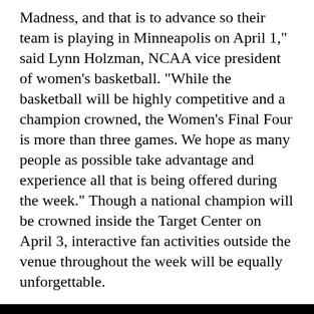Madness, and that is to advance so their team is playing in Minneapolis on April 1," said Lynn Holzman, NCAA vice president of women's basketball. "While the basketball will be highly competitive and a champion crowned, the Women's Final Four is more than three games. We hope as many people as possible take advantage and experience all that is being offered during the week." Though a national champion will be crowned inside the Target Center on April 3, interactive fan activities outside the venue throughout the week will be equally unforgettable.
By clicking "Continue" or continuing to use our site, you acknowledge that you accept our Privacy Policy and Terms of Use. We also use cookies to provide you with the best possible experience on our website. Feel free to check out our policies anytime for more information.
Continue